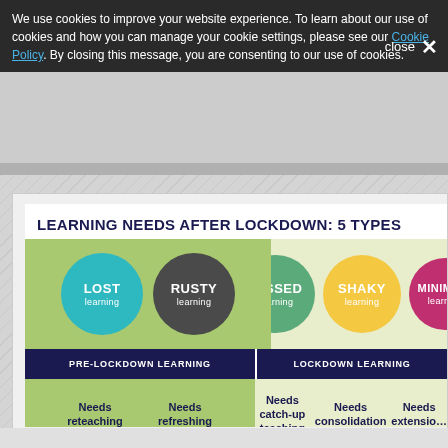We use cookies to improve your website experience. To learn about our use of cookies and how you can manage your cookie settings, please see our Cookie Policy. By closing this message, you are consenting to our use of cookies.
[Figure (infographic): Learning Needs After Lockdown: 5 Types infographic showing 5 circle types: Lost learning, Rusty learning, Missed learning, Shaky learning, Minimal learning, with Pre-Lockdown Learning and Lockdown Learning panels and corresponding needs below each.]
stran.ac.uk/research/creu